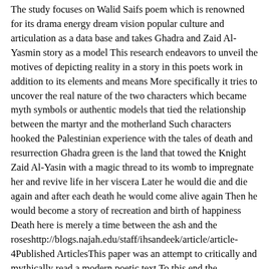The study focuses on Walid Saifs poem which is renowned for its drama energy dream vision popular culture and articulation as a data base and takes Ghadra and Zaid Al-Yasmin story as a model This research endeavors to unveil the motives of depicting reality in a story in this poets work in addition to its elements and means More specifically it tries to uncover the real nature of the two characters which became myth symbols or authentic models that tied the relationship between the martyr and the motherland Such characters hooked the Palestinian experience with the tales of death and resurrection Ghadra green is the land that towed the Knight Zaid Al-Yasin with a magic thread to its womb to impregnate her and revive life in her viscera Later he would die and die again and after each death he would come alive again Then he would become a story of recreation and birth of happiness Death here is merely a time between the ash and the roseshttp://blogs.najah.edu/staff/ihsandeek/article/article-4Published ArticlesThis paper was an attempt to critically and mythically read a modern poetic text To this end the researcher dwells on the original prototypes in the poem subject of the study and extracts symbols and point out to their significance In addition the researcher illustrates the revelations of absence and presence in Darwishs poem In this poem Darwish was able through the moment of his fathers death an original moment to delve into his personal experience and mix it up with the national experience and make both experiences moments of observation linking two eras or